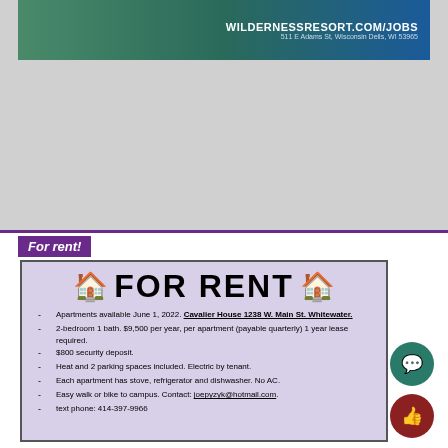[Figure (other): Advertisement banner for Wilderness Resort Jobs with green/teal background showing website URL and address]
For rent!
[Figure (infographic): For rent listing box with lavender background, house icons, FOR RENT heading, and bullet point list of rental details for Cavalier House 1238 W. Main St. Whitewater]
Apartments available June 1, 2022. Cavalier House 1238 W. Main St. Whitewater.
2-bedroom 1 bath. $9,500 per year, per apartment (payable quarterly) 1 year lease required.
$800 security deposit.
Heat and 2 parking spaces included. Electric by tenant.
Each apartment has stove, refrigerator and dishwasher. No AC.
Easy walk or bike to campus. Contact: joepyzyk@hotmail.com.
text phone: 414-397-9966